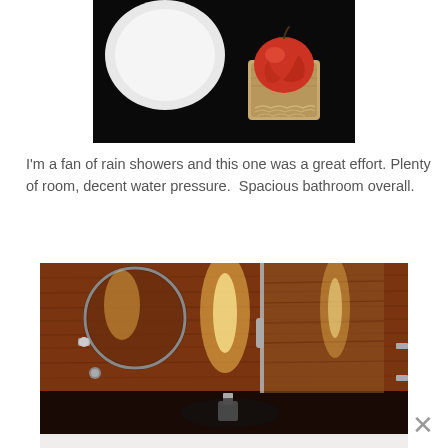[Figure (photo): Top-down view of a white plate and a red apple in a small wooden box on a dark black surface]
I'm a fan of rain showers and this one was a great effort. Plenty of room, decent water pressure.  Spacious bathroom overall.
[Figure (photo): Interior bathroom photo showing wood-paneled walls, glass shower enclosure, round mirror, chrome fixtures, and dark granite countertop with warm ambient lighting]